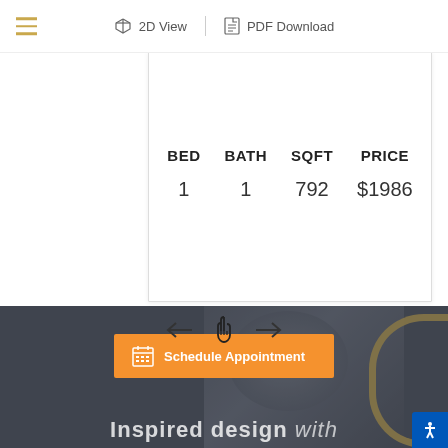2D View   PDF Download
| BED | BATH | SQFT | PRICE |
| --- | --- | --- | --- |
| 1 | 1 | 792 | $1986 |
[Figure (infographic): Navigation arrows with left arrow, hand pointer icon, and right arrow for browsing floor plans]
[Figure (photo): Darkened background photo of a person, with gold arc design element and Schedule Appointment button overlay. Text reads 'Inspired design with']
Schedule Appointment
Inspired design with